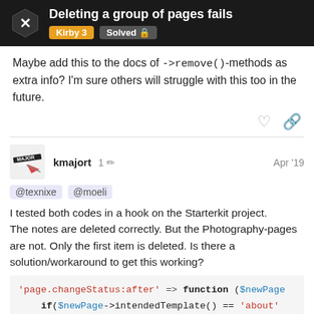Deleting a group of pages fails | Kirby 3 | Solved
Maybe add this to the docs of ->remove()-methods as extra info? I'm sure others will struggle with this too in the future.
kmajort  1 ✏  Apr '19
@texnixe @moeli
I tested both codes in a hook on the Starterkit project. The notes are deleted correctly. But the Photography-pages are not. Only the first item is deleted. Is there a solution/workaround to get this working?
[Figure (screenshot): Code block showing PHP: 'page.changeStatus:after' => function ($newPage  if($newPage->intendedTemplate() == 'about'  foreach(page('photography')->children()->  $item->delete(true);  } with pagination badge 16/18]